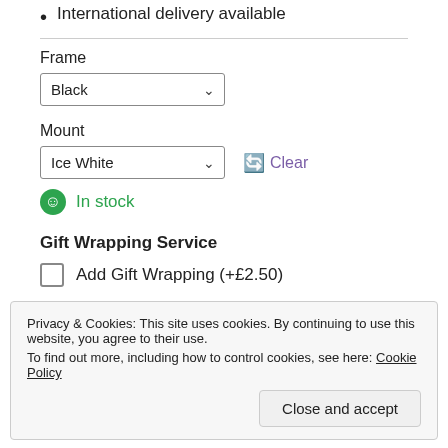International delivery available
Frame
Black (selected dropdown)
Mount
Ice White (selected dropdown), Clear
In stock
Gift Wrapping Service
Add Gift Wrapping (+£2.50)
Privacy & Cookies: This site uses cookies. By continuing to use this website, you agree to their use. To find out more, including how to control cookies, see here: Cookie Policy
Close and accept